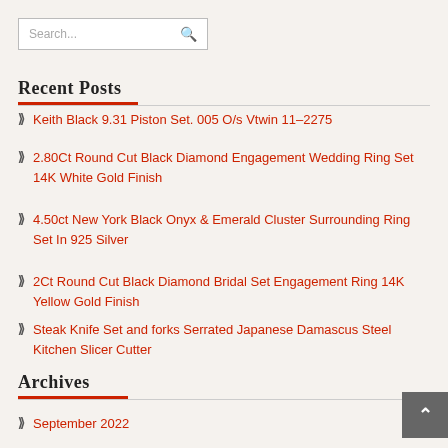Search...
Recent Posts
Keith Black 9.31 Piston Set. 005 O/s Vtwin 11-2275
2.80Ct Round Cut Black Diamond Engagement Wedding Ring Set 14K White Gold Finish
4.50ct New York Black Onyx & Emerald Cluster Surrounding Ring Set In 925 Silver
2Ct Round Cut Black Diamond Bridal Set Engagement Ring 14K Yellow Gold Finish
Steak Knife Set and forks Serrated Japanese Damascus Steel Kitchen Slicer Cutter
Archives
September 2022